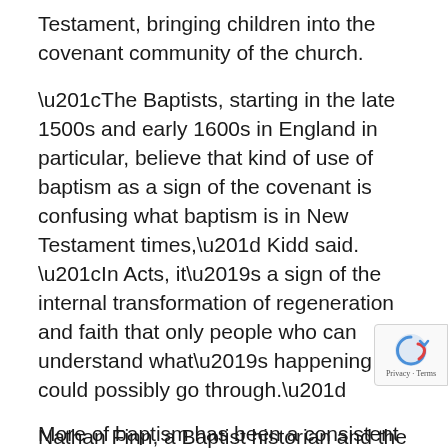Testament, bringing children into the covenant community of the church.
“The Baptists, starting in the late 1500s and early 1600s in England in particular, believe that kind of use of baptism as a sign of the covenant is confusing what baptism is in New Testament times,” Kidd said. “In Acts, it’s a sign of the internal transformation of regeneration and faith that only people who can understand what’s happening could possibly go through.”
Nathan Finn, a Baptist historian and the dean of faculty at North Greenville University in Tigerville, S.C., says this focus on believer’s baptism often made early Baptists take more time than we do to assess a baptismal candidate’s conversion. He calls that the most significant change in how Baptists have done baptisms throughout history.
More of baptism has been a consistent Baptist...